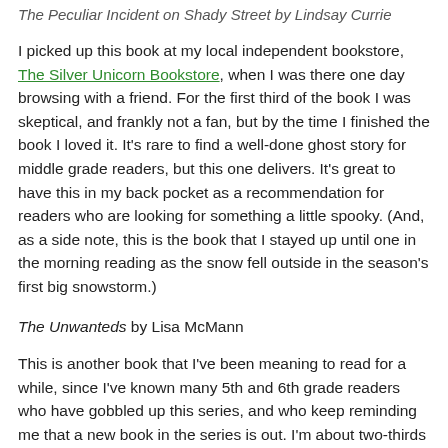The Peculiar Incident on Shady Street by Lindsay Currie
I picked up this book at my local independent bookstore, The Silver Unicorn Bookstore, when I was there one day browsing with a friend. For the first third of the book I was skeptical, and frankly not a fan, but by the time I finished the book I loved it. It's rare to find a well-done ghost story for middle grade readers, but this one delivers. It's great to have this in my back pocket as a recommendation for readers who are looking for something a little spooky. (And, as a side note, this is the book that I stayed up until one in the morning reading as the snow fell outside in the season's first big snowstorm.)
The Unwanteds by Lisa McMann
This is another book that I've been meaning to read for a while, since I've known many 5th and 6th grade readers who have gobbled up this series, and who keep reminding me that a new book in the series is out. I'm about two-thirds through the